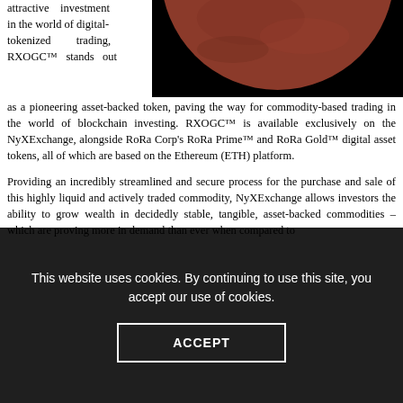attractive investment in the world of digital-tokenized trading, RXOGC™ stands out as a pioneering asset-backed token, paving the way for commodity-based trading in the world of blockchain investing. RXOGC™ is available exclusively on the NyXExchange, alongside RoRa Corp's RoRa Prime™ and RoRa Gold™ digital asset tokens, all of which are based on the Ethereum (ETH) platform.
[Figure (photo): Partial view of a reddish-brown sphere (planet or globe) on a black background, showing the lower hemisphere portion.]
Providing an incredibly streamlined and secure process for the purchase and sale of this highly liquid and actively traded commodity, NyXExchange allows investors the ability to grow wealth in decidedly stable, tangible, asset-backed commodities – which are proving more in demand than ever when compared to...
This website uses cookies. By continuing to use this site, you accept our use of cookies.